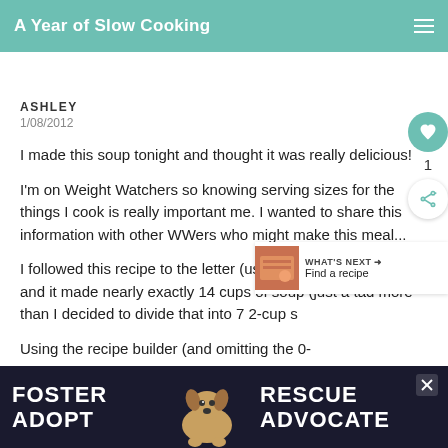A Year of Slow Cooking
ASHLEY
1/08/2012
I made this soup tonight and thought it was really delicious!
I'm on Weight Watchers so knowing serving sizes for the things I cook is really important me. I wanted to share this information with other WWers who might make this meal...
I followed this recipe to the letter (using whit penne pasta) and it made nearly exactly 14 cups of soup (just a tad more than I decided to divide that into 7 2-cup s
Using the recipe builder (and omitting the 0- recipe ... serving
[Figure (infographic): Advertisement banner: FOSTER ADOPT with dog image, RESCUE ADVOCATE text on dark navy background]